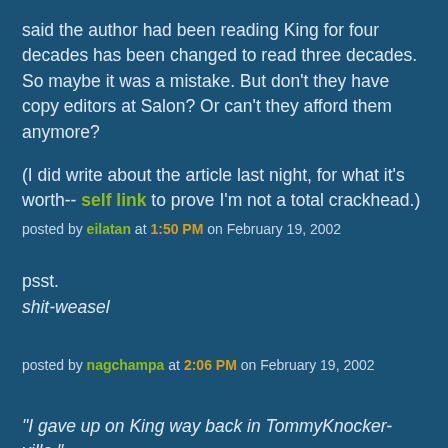said the author had been reading King for four decades has been changed to read three decades. So maybe it was a mistake. But don't they have copy editors at Salon? Or can't they afford them anymore?
(I did write about the article last night, for what it's worth-- self link to prove I'm not a total crackhead.)
posted by eilatan at 1:50 PM on February 19, 2002
psst.
shit-weasel
posted by nagchampa at 2:06 PM on February 19, 2002
"I gave up on King way back in TommyKnocker-ville."